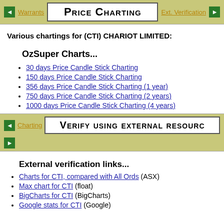Warrants | Price Charting | Ext. Verification
Various chartings for (CTI) CHARIOT LIMITED:
OzSuper Charts...
30 days Price Candle Stick Charting
150 days Price Candle Stick Charting
356 days Price Candle Stick Charting (1 year)
750 days Price Candle Stick Charting (2 years)
1000 days Price Candle Stick Charting (4 years)
Charting | Verify using external resources
External verification links...
Charts for CTI, compared with All Ords (ASX)
Max chart for CTI (float)
BigCharts for CTI (BigCharts)
Google stats for CTI (Google)